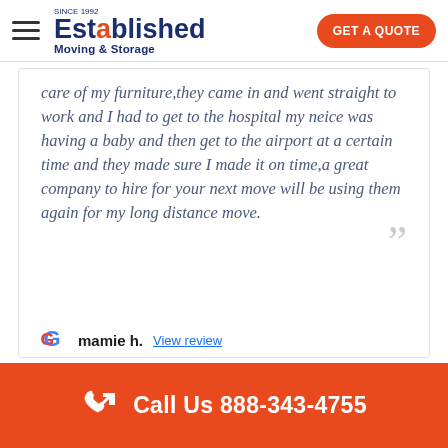[Figure (logo): Established Moving & Storage logo with hamburger menu and GET A QUOTE button]
care of my furniture,they came in and went straight to work and I had to get to the hospital my neice was having a baby and then get to the airport at a certain time and they made sure I made it on time,a great company to hire for your next move will be using them again for my long distance move.
mamie h. View review
Call Us 888-343-4755